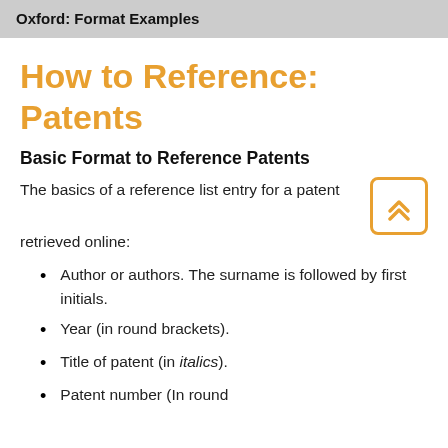Oxford: Format Examples
How to Reference: Patents
Basic Format to Reference Patents
The basics of a reference list entry for a patent retrieved online:
Author or authors. The surname is followed by first initials.
Year (in round brackets).
Title of patent (in italics).
Patent number (In round